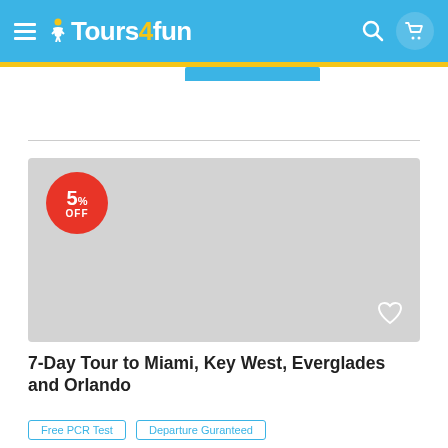Tours4fun navigation header
[Figure (photo): Tour listing thumbnail placeholder image (gray) with 5% OFF red badge and heart icon]
7-Day Tour to Miami, Key West, Everglades and Orlando
Free PCR Test
Departure Guranteed